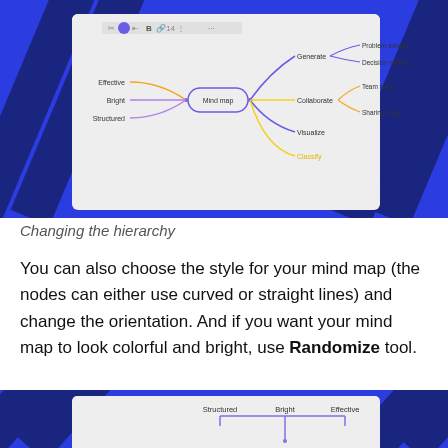[Figure (screenshot): Mind map software screenshot showing a mind map with central node labeled 'Mind map', branches to Effective, Bright, Structured on the left, and Generate (with Problem solving, Decision making), Collaborate (with Team work, Sharing ideas), Visualize, Classify on the right. Toolbar visible at top.]
Changing the hierarchy
You can also choose the style for your mind map (the nodes can either use curved or straight lines) and change the orientation. And if you want your mind map to look colorful and bright, use Randomize tool.
[Figure (screenshot): Second mind map screenshot showing a hierarchical tree layout with Structured, Bright, Effective as top nodes connected by purple lines.]